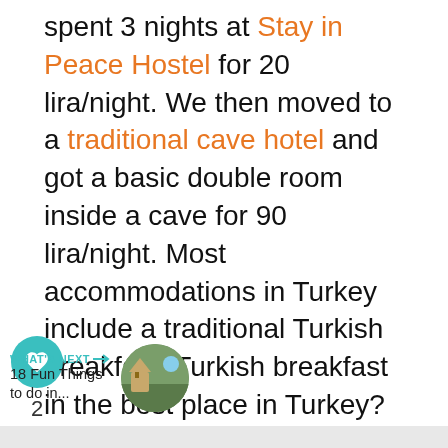spent 3 nights at Stay in Peace Hostel for 20 lira/night. We then moved to a traditional cave hotel and got a basic double room inside a cave for 90 lira/night. Most accommodations in Turkey include a traditional Turkish breakfast. Turkish breakfast in the best place in Turkey? Perfect.
[Figure (infographic): Social interaction buttons: teal heart/like button, count of 2, and share button]
WHAT'S NEXT → 18 Fun Things to do in...
[Figure (photo): Circular thumbnail photo of a landscape/travel destination]